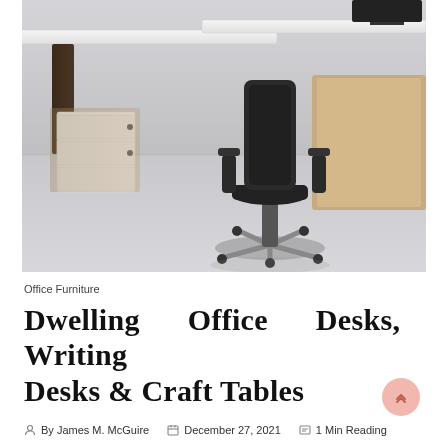[Figure (photo): Office furniture photo showing modern white desks with dark wood-tone pedestals, a dark ergonomic office chair with chrome star base, and wooden cabinet storage unit on a light gray floor.]
Office Furniture
Dwelling Office Desks, Writing Desks & Craft Tables
By James M. McGuire   December 27, 2021   1 Min Reading